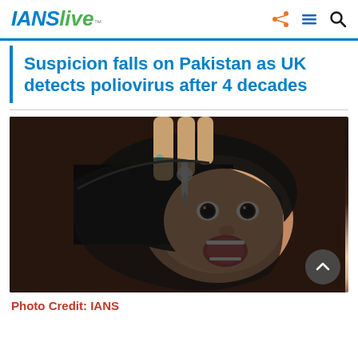IANS live™
Suspicion falls on Pakistan as UK detects poliovirus after 4 decades
[Figure (photo): A child receiving oral polio vaccine drops from a healthcare worker's hand. The child is wearing a black headscarf and has mouth open.]
Photo Credit: IANS